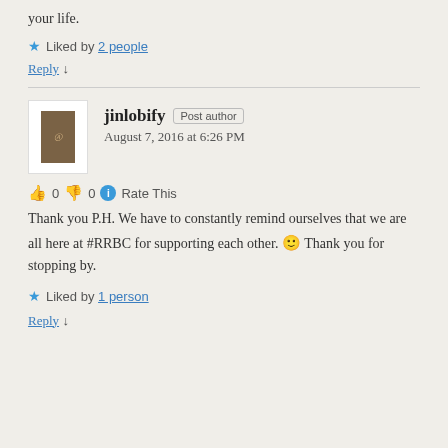your life.
Liked by 2 people
Reply ↓
jinlobify  Post author
August 7, 2016 at 6:26 PM
👍 0 👎 0 ℹ Rate This
Thank you P.H. We have to constantly remind ourselves that we are all here at #RRBC for supporting each other. 🙂 Thank you for stopping by.
Liked by 1 person
Reply ↓